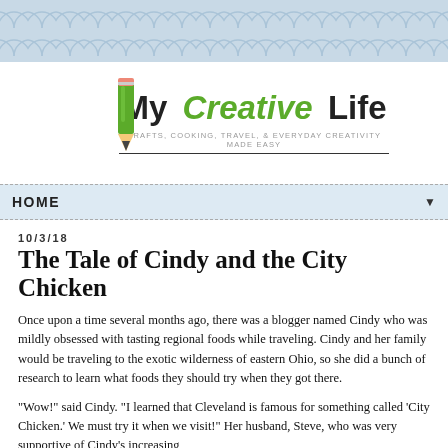[Figure (illustration): Blog header banner with light blue scallop/fish-scale pattern background]
[Figure (logo): My Creative Life blog logo with pencil icon and tagline: CRAFTS, COOKING, TRAVEL, & EVERYDAY CREATIVITY MADE EASY]
HOME ▼
10/3/18
The Tale of Cindy and the City Chicken
Once upon a time several months ago, there was a blogger named Cindy who was mildly obsessed with tasting regional foods while traveling. Cindy and her family would be traveling to the exotic wilderness of eastern Ohio, so she did a bunch of research to learn what foods they should try when they got there.
"Wow!" said Cindy. "I learned that Cleveland is famous for something called 'City Chicken.' We must try it when we visit!" Her husband, Steve, who was very supportive of Cindy's increasing